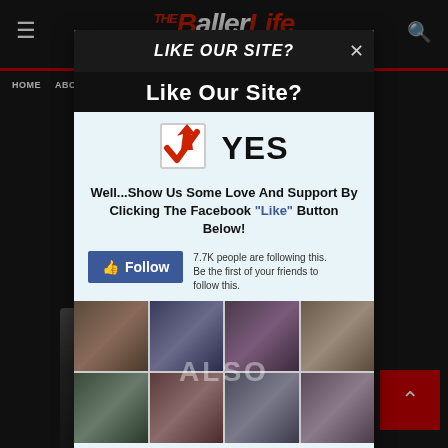[Figure (screenshot): Website screenshot of 'The Baller Life' with a modal popup dialog overlay asking users to like their site on Facebook. The modal contains a checkbox with YES, text asking for love and support, a Facebook Follow button, and a grid of profile photos. Navigation bar visible behind the modal with HOME and other menu items.]
The Baller Life
Like Our Site?
Well...Show Us Some Love And Support By Clicking The Facebook "Like" Button Below!
7.7K people are following this. Be the first of your friends to follow this.
Follow
HOME